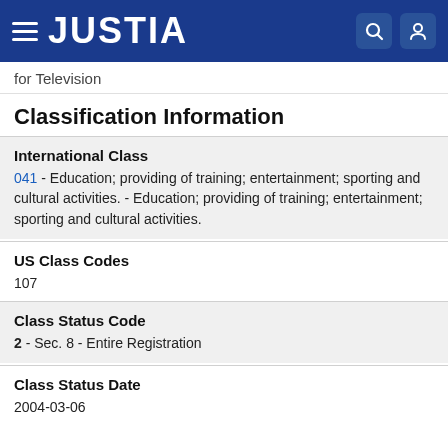JUSTIA
for Television
Classification Information
International Class
041 - Education; providing of training; entertainment; sporting and cultural activities. - Education; providing of training; entertainment; sporting and cultural activities.
US Class Codes
107
Class Status Code
2 - Sec. 8 - Entire Registration
Class Status Date
2004-03-06